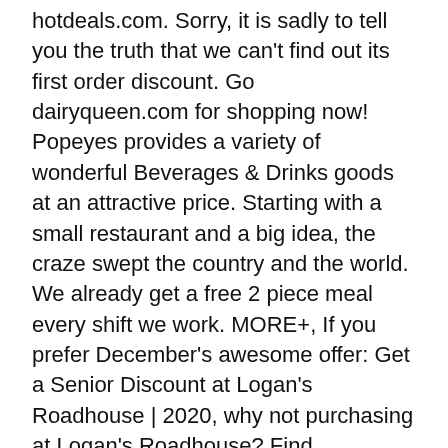hotdeals.com. Sorry, it is sadly to tell you the truth that we can't find out its first order discount. Go dairyqueen.com for shopping now! Popeyes provides a variety of wonderful Beverages & Drinks goods at an attractive price. Starting with a small restaurant and a big idea, the craze swept the country and the world. We already get a free 2 piece meal every shift we work. MORE+, If you prefer December's awesome offer: Get a Senior Discount at Logan's Roadhouse | 2020, why not purchasing at Logan's Roadhouse? Find everything you need, all in one place at Round Table Pizza. Benefits information above is provided anonymously by current and former Popeyes employees, and may include a summary provided by the employer. Popeyes. It is worth catching value coupon info at Popeyes employee discount page. There are 3 active Student coupon codes for Popeyes verified today. Seeking for a way to balance the conflict of your pocket and your desire? Go